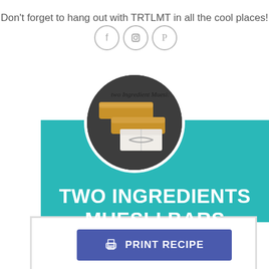Don't forget to hang out with TRTLMT in all the cool places!
[Figure (illustration): Social media icons: Facebook, Instagram, Pinterest in circular grey outlines]
[Figure (photo): Circular photo of muesli bars with text overlay 'Two Ingredient Muesli' on teal background]
TWO INGREDIENTS MUESLI BARS
PRINT RECIPE